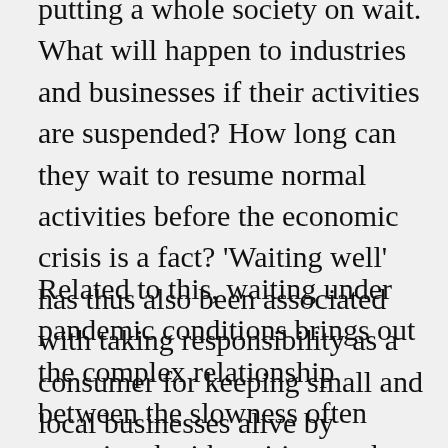putting a whole society on wait. What will happen to industries and businesses if their activities are suspended? How long can they wait to resume normal activities before the economic crisis is a fact? 'Waiting well' has thus also been associated with taking responsibility as a consumer for keeping small and local businesses alive by continuing to spend money during the time of confinement.
Related to this, waiting under pandemic conditions brings out the complex relationship between the slowness often associated with waiting, and acceleration of tempo. While the pandemic has hit the financial market, and economic processes decelerate, the pace and mobility of people, value and goods under globalized capitalism enables SARS-CoV-2 to spread across the globe in a rapid and uncontrollable process. This interplay between multiple tempos also produces